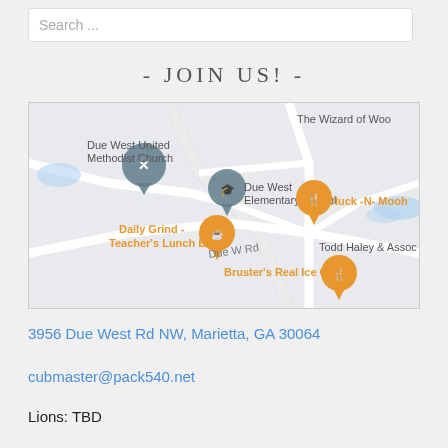Search ...
- JOIN US! -
[Figure (map): Google Maps screenshot showing area near Due West Rd NW, Marietta, GA 30064. Shows landmarks: Due West United Methodist Church, Due West Elementary School, Daily Grind - Teacher's Lunch Box, Cluck -N- Mooh, Todd Haley & Assoc, Bruster's Real Ice Cream, The Wizard of Woo. Road labeled Due W Rd.]
3956 Due West Rd NW, Marietta, GA 30064
cubmaster@pack540.net
Lions: TBD